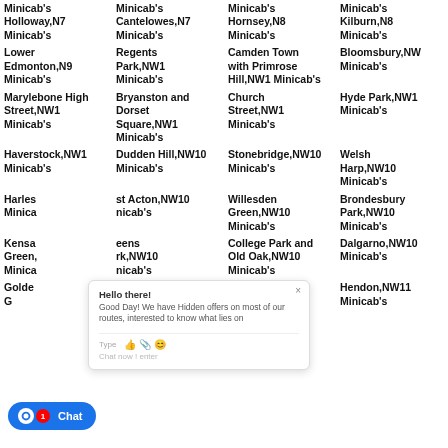Minicab's Holloway,N7 Minicab's
Minicab's Cantelowes,N7 Minicab's
Minicab's Hornsey,N8 Minicab's
Minicab's Kilburn,N8 Minicab's
Lower Edmonton,N9 Minicab's
Regents Park,NW1 Minicab's
Camden Town with Primrose Hill,NW1 Minicab's
Bloomsbury,NW Minicab's
Marylebone High Street,NW1 Minicab's
Bryanston and Dorset Square,NW1 Minicab's
Church Street,NW1 Minicab's
Hyde Park,NW1 Minicab's
Haverstock,NW1 Minicab's
Dudden Hill,NW10 Minicab's
Stonebridge,NW10 Minicab's
Welsh Harp,NW10 Minicab's
Harles... Minicab's
st Acton,NW10 nicab's
Willesden Green,NW10 Minicab's
Brondesbury Park,NW10 Minicab's
Kensa... Green... Minica...
Queens rk,NW10 nicab's
College Park and Old Oak,NW10 Minicab's
Dalgarno,NW10 Minicab's
Golden...
Childs Hill,NW11 Minicab's
West Hendon,NW11 Minicab's
Hendon,NW11 Minicab's